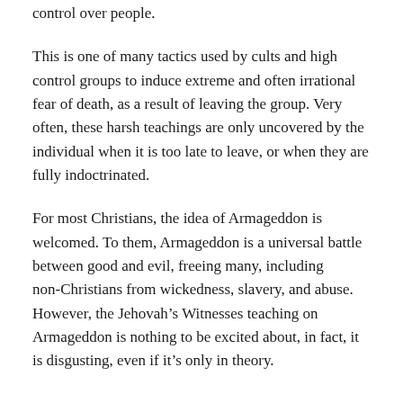control over people.
This is one of many tactics used by cults and high control groups to induce extreme and often irrational fear of death, as a result of leaving the group. Very often, these harsh teachings are only uncovered by the individual when it is too late to leave, or when they are fully indoctrinated.
For most Christians, the idea of Armageddon is welcomed. To them, Armageddon is a universal battle between good and evil, freeing many, including non-Christians from wickedness, slavery, and abuse. However, the Jehovah's Witnesses teaching on Armageddon is nothing to be excited about, in fact, it is disgusting, even if it's only in theory.